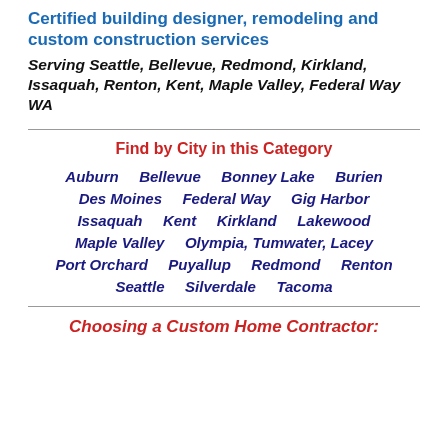Certified building designer, remodeling and custom construction services
Serving Seattle, Bellevue, Redmond, Kirkland, Issaquah, Renton, Kent, Maple Valley, Federal Way WA
Find by City in this Category
Auburn
Bellevue
Bonney Lake
Burien
Des Moines
Federal Way
Gig Harbor
Issaquah
Kent
Kirkland
Lakewood
Maple Valley
Olympia, Tumwater, Lacey
Port Orchard
Puyallup
Redmond
Renton
Seattle
Silverdale
Tacoma
Choosing a Custom Home Contractor: